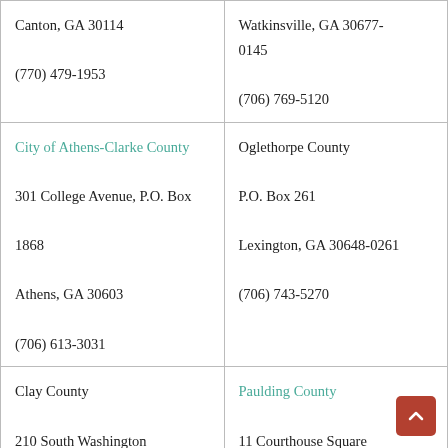| Canton, GA 30114

(770) 479-1953 | Watkinsville, GA 30677-0145

(706) 769-5120 |
| City of Athens-Clarke County
301 College Avenue, P.O. Box 1868
Athens, GA 30603
(706) 613-3031 | Oglethorpe County
P.O. Box 261
Lexington, GA 30648-0261
(706) 743-5270 |
| Clay County
210 South Washington
Fort Gaines, GA 31751
(912) 768-3238 | Paulding County
11 Courthouse Square
Dallas, GA 30132-1401
(770) 443-7550 |